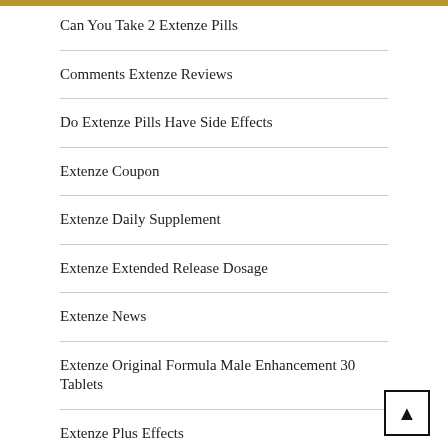Can You Take 2 Extenze Pills
Comments Extenze Reviews
Do Extenze Pills Have Side Effects
Extenze Coupon
Extenze Daily Supplement
Extenze Extended Release Dosage
Extenze News
Extenze Original Formula Male Enhancement 30 Tablets
Extenze Plus Effects
Extenze Results Time
Extenze Review